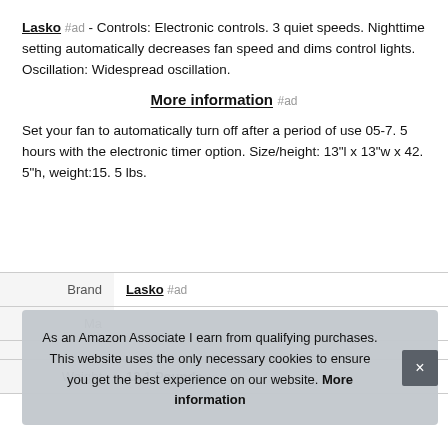Lasko #ad - Controls: Electronic controls. 3 quiet speeds. Nighttime setting automatically decreases fan speed and dims control lights. Oscillation: Widespread oscillation.
More information #ad
Set your fan to automatically turn off after a period of use 05-7. 5 hours with the electronic timer option. Size/height: 13"l x 13"w x 42. 5"h, weight:15. 5 lbs.
| Brand | Lasko #ad |
| Ma |  |
|  |  |
| Weight | 12.1 Pounds |
As an Amazon Associate I earn from qualifying purchases. This website uses the only necessary cookies to ensure you get the best experience on our website. More information